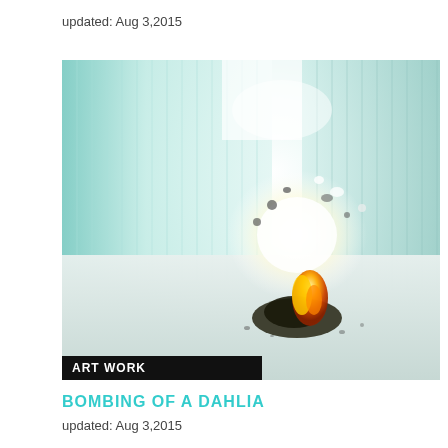updated: Aug 3,2015
[Figure (photo): Photograph of an explosion with fire and debris on the floor of a white industrial room with corrugated metal walls. Small objects are flying through the air above an orange flame and dark mass on the ground.]
ART WORK
BOMBING OF A DAHLIA
updated: Aug 3,2015